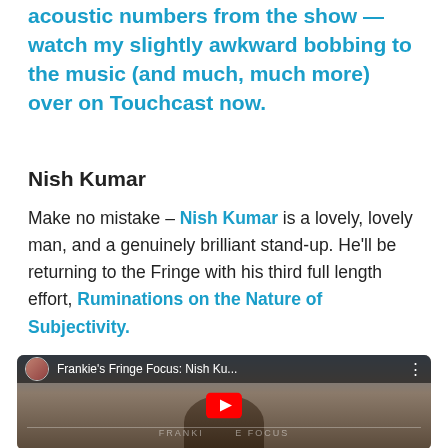acoustic numbers from the show — watch my slightly awkward bobbing to the music (and much, much more) over on Touchcast now.
Nish Kumar
Make no mistake – Nish Kumar is a lovely, lovely man, and a genuinely brilliant stand-up. He'll be returning to the Fringe with his third full length effort, Ruminations on the Nature of Subjectivity.
[Figure (screenshot): YouTube video thumbnail showing 'Frankie's Fringe Focus: Nish Ku...' with a person visible and a YouTube play button overlay]